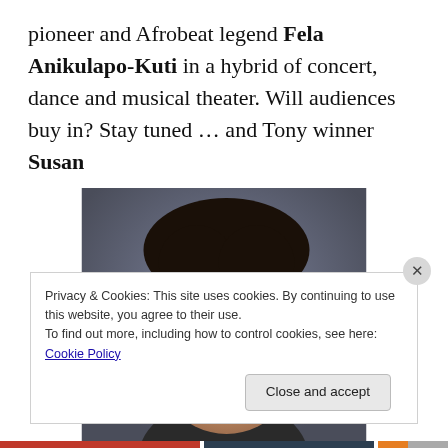pioneer and Afrobeat legend Fela Anikulapo-Kuti in a hybrid of concert, dance and musical theater. Will audiences buy in? Stay tuned … and Tony winner Susan
[Figure (photo): Close-up portrait photo of a man with dark hair wearing round wire-framed glasses, against a dark blue-grey background]
Privacy & Cookies: This site uses cookies. By continuing to use this website, you agree to their use.
To find out more, including how to control cookies, see here: Cookie Policy